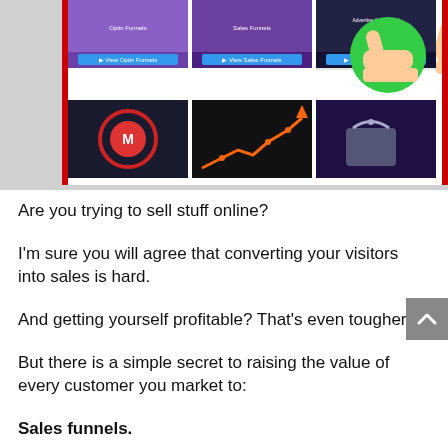[Figure (screenshot): Screenshot of a website showing a grid of video/course thumbnails with colorful images. Top row shows three cards with thumbnails and 'View Details' buttons. Additional thumbnails visible in a second row. To the right are two cartoon hands - one giving thumbs up (green) and one giving thumbs down (red).]
Are you trying to sell stuff online?
I'm sure you will agree that converting your visitors into sales is hard.
And getting yourself profitable? That's even tougher.
But there is a simple secret to raising the value of every customer you market to:
Sales funnels.
By creating a well-designed sales funnel, you can